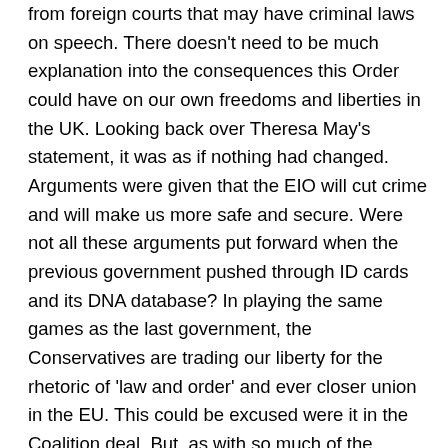from foreign courts that may have criminal laws on speech. There doesn't need to be much explanation into the consequences this Order could have on our own freedoms and liberties in the UK. Looking back over Theresa May's statement, it was as if nothing had changed. Arguments were given that the EIO will cut crime and will make us more safe and secure. Were not all these arguments put forward when the previous government pushed through ID cards and its DNA database? In playing the same games as the last government, the Conservatives are trading our liberty for the rhetoric of 'law and order' and ever closer union in the EU. This could be excused were it in the Coalition deal. But, as with so much of the Coalition's on the hop thinking, there is no mandate whatsoever for the EIO. I know we must not talk about 'cast iron guarantees' anymore, but the Conservatives pledged a referendum lock on any future transfers of power to the EU. I would say that allowing private data to be transferred to EU states, with the EIO through the EU directive process, is a transfer of power. I am